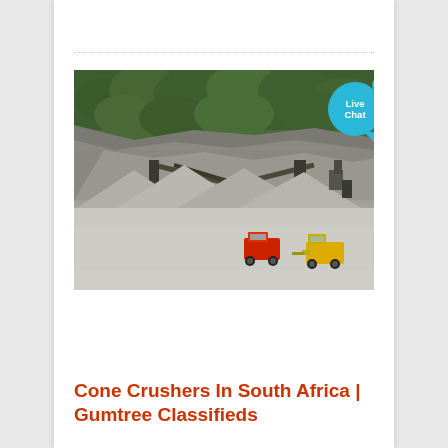[Figure (photo): Aerial view of a quarry/mining site with large piles of crushed stone/gravel, conveyor belts, a red dump truck and yellow loader in the foreground, surrounded by green forested hillside. A 'Live Chat' bubble overlay appears in the upper right corner of the image.]
Cone Crushers In South Africa | Gumtree Classifieds